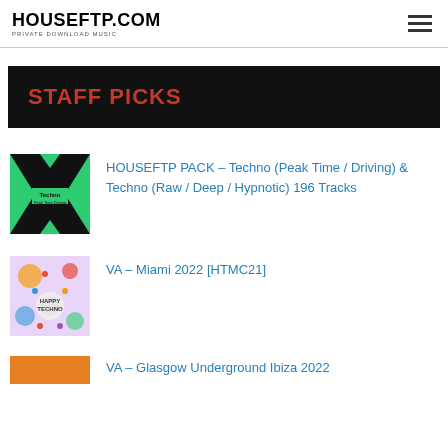HOUSEFTP.COM — PRIVATE DOWNLOAD MUSIC
STAFF PICKS
HOUSEFTP PACK – Techno (Peak Time / Driving) & Techno (Raw / Deep / Hypnotic) 196 Tracks
VA – Miami 2022 [HTMC21]
VA – Glasgow Underground Ibiza 2022